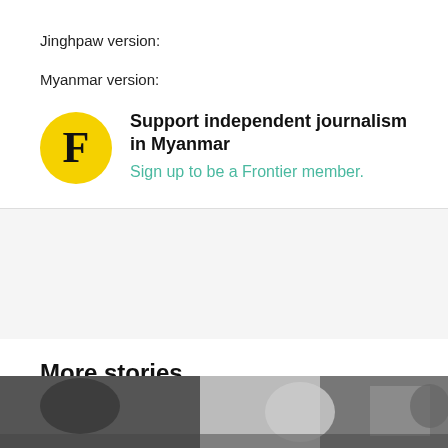Jinghpaw version:
Myanmar version:
Support independent journalism in Myanmar
Sign up to be a Frontier member.
More stories
[Figure (photo): Photo strip showing people, partially visible at the bottom of the page]